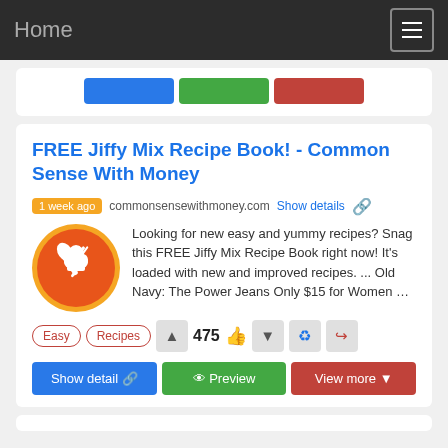Home
FREE Jiffy Mix Recipe Book! - Common Sense With Money
1 week ago  commonsensewithmoney.com  Show details
Looking for new easy and yummy recipes? Snag this FREE Jiffy Mix Recipe Book right now! It's loaded with new and improved recipes. ... Old Navy: The Power Jeans Only $15 for Women …
Easy  Recipes  475  Show detail  Preview  View more